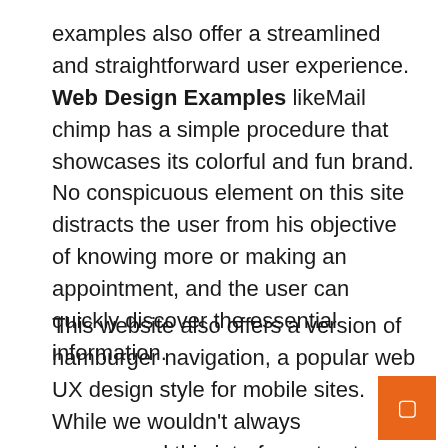examples also offer a streamlined and straightforward user experience. Web Design Examples likeMail chimp has a simple procedure that showcases its colorful and fun brand. No conspicuous element on this site distracts the user from his objective of knowing more or making an appointment, and the user can quickly discover the essential information.
This website also offers a version of hamburger navigation, a popular web UX design style for mobile sites. While we wouldn't always recommend this interface structure for the desktop version of a website, it adds to the minimalistic impact of this modest website.